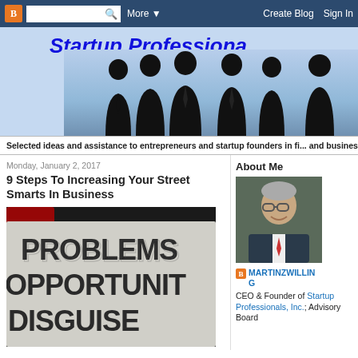Blogger navigation bar with logo, search, More, Create Blog, Sign In
Startup Professiona...
[Figure (illustration): Silhouette of business professionals group on light blue background]
Selected ideas and assistance to entrepreneurs and startup founders in fi... and business networking to incorporate a business, file patents, add an ad...
Monday, January 2, 2017
9 Steps To Increasing Your Street Smarts In Business
[Figure (photo): Sign board showing words PROBLEMS, OPPORTUNITY (partial), DISGUISE in large block letters]
About Me
[Figure (photo): Profile photo of a man with glasses, smiling, wearing a suit]
MARTINZWILLING
CEO & Founder of Startup Professionals, Inc.; Advisory Board